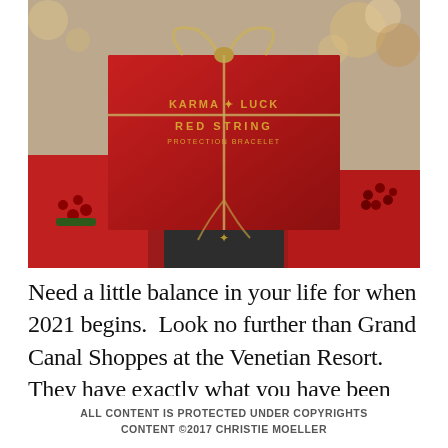[Figure (photo): A red gift box with twine bow labeled 'Karma Luck Red String Protection Bracelet', surrounded by red holiday decorations including berries and ribbon, with a dark cylindrical container below.]
Need a little balance in your life for when 2021 begins.  Look no further than Grand Canal Shoppes at the Venetian Resort. They have exactly what you have been looking for a little here at Karma And Luck...
ALL CONTENT IS PROTECTED UNDER COPYRIGHTS CONTENT ©2017 CHRISTIE MOELLER